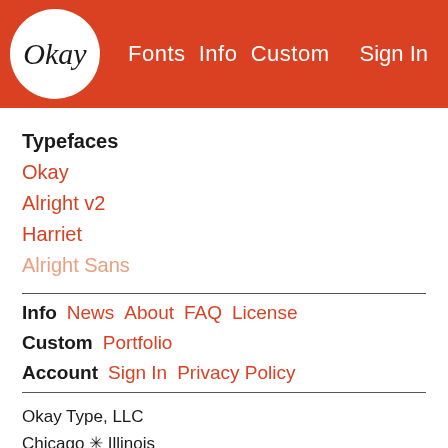Okay | Fonts  Info  Custom  | Sign In
Typefaces
Okay
Alright v2
Harriet
Alright Sans
Info  News  About  FAQ  License
Custom  Portfolio
Account  Sign In  Privacy Policy
Okay Type, LLC
Chicago ✳ Illinois
©☯☺ & ™ 2022